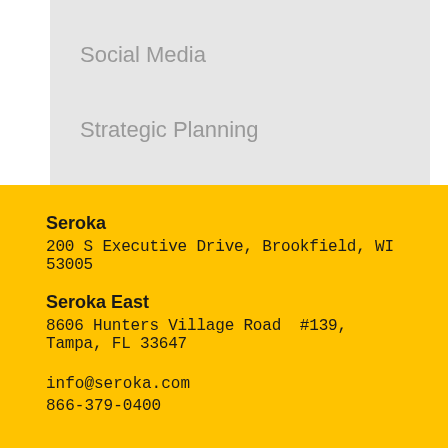Social Media
Strategic Planning
Seroka
200 S Executive Drive, Brookfield, WI 53005
Seroka East
8606 Hunters Village Road  #139, Tampa, FL 33647
info@seroka.com
866-379-0400